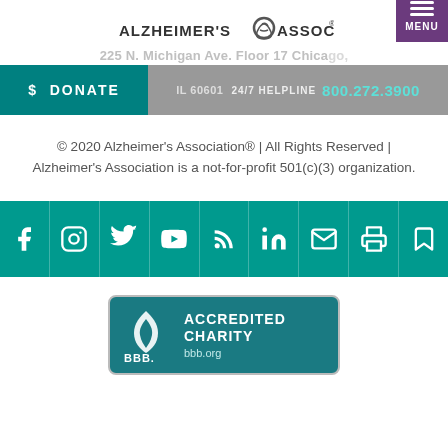[Figure (logo): Alzheimer's Association logo with purple text and brain icon]
225 N. Michigan Ave. Floor 17 Chicago, IL 60601
$ DONATE | 24/7 HELPLINE 800.272.3900
© 2020 Alzheimer's Association® | All Rights Reserved | Alzheimer's Association is a not-for-profit 501(c)(3) organization.
[Figure (infographic): Social media icon bar with Facebook, Instagram, Twitter, YouTube, Blog/RSS, LinkedIn, Email, Print, Bookmark icons in teal]
[Figure (logo): BBB Accredited Charity badge with bbb.org]